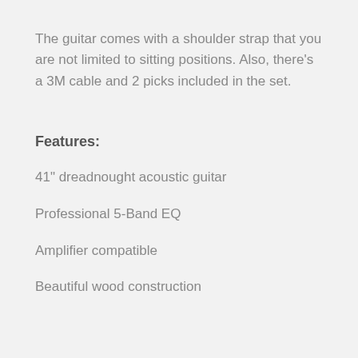The guitar comes with a shoulder strap that you are not limited to sitting positions. Also, there's a 3M cable and 2 picks included in the set.
Features:
41" dreadnought acoustic guitar
Professional 5-Band EQ
Amplifier compatible
Beautiful wood construction